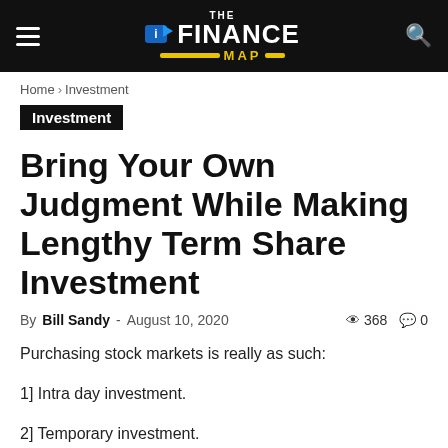THE FINANCE MAP
Home › Investment
Investment
Bring Your Own Judgment While Making Lengthy Term Share Investment
By Bill Sandy - August 10, 2020   368   0
Purchasing stock markets is really as such:
1] Intra day investment.
2] Temporary investment.